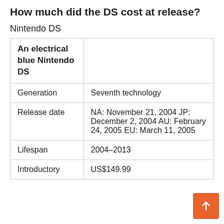How much did the DS cost at release?
Nintendo DS
|  |  |
| --- | --- |
| An electrical blue Nintendo DS |  |
| Generation | Seventh technology |
| Release date | NA: November 21, 2004 JP: December 2, 2004 AU: February 24, 2005 EU: March 11, 2005 |
| Lifespan | 2004–2013 |
| Introductory | US$149.99 |